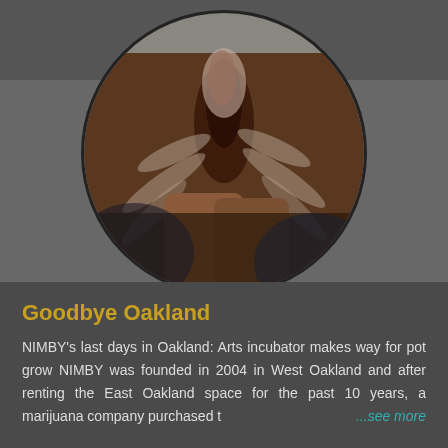[Figure (photo): Circular cropped photo of a person holding up a marijuana plant/bud with dark purple and white coloring, displayed against a dark grey background]
Goodbye Oakland
NIMBY's last days in Oakland: Arts incubator makes way for pot grow NIMBY was founded in 2004 in West Oakland and after renting the East Oakland space for the past 10 years, a marijuana company purchased t ...see more